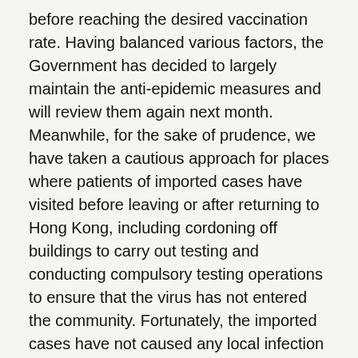before reaching the desired vaccination rate. Having balanced various factors, the Government has decided to largely maintain the anti-epidemic measures and will review them again next month.   Meanwhile, for the sake of prudence, we have taken a cautious approach for places where patients of imported cases have visited before leaving or after returning to Hong Kong, including cordoning off buildings to carry out testing and conducting compulsory testing operations to ensure that the virus has not entered the community. Fortunately, the imported cases have not caused any local infection so far.   On vaccination, we are pleased to see that more organisations have participated in the outreach vaccination programme. Participants in the programme included global professional services enterprises, property developers, financial institutions, the construction industry, public utilities, property management companies, schools, theme parks, district organisations, etc. In addition, we have arranged vaccination for schools at community vaccination centres (CVCs) through group booking, and provided taxi and